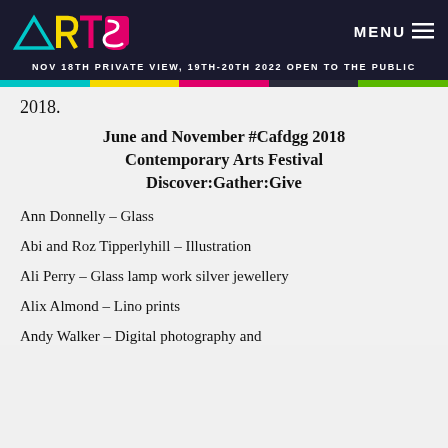NOV 18TH PRIVATE VIEW, 19TH-20TH 2022 OPEN TO THE PUBLIC
2018.
June and November #Cafdgg 2018 Contemporary Arts Festival Discover:Gather:Give
Ann Donnelly – Glass
Abi and Roz Tipperlyhill – Illustration
Ali Perry – Glass lamp work silver jewellery
Alix Almond – Lino prints
Andy Walker – Digital photography and